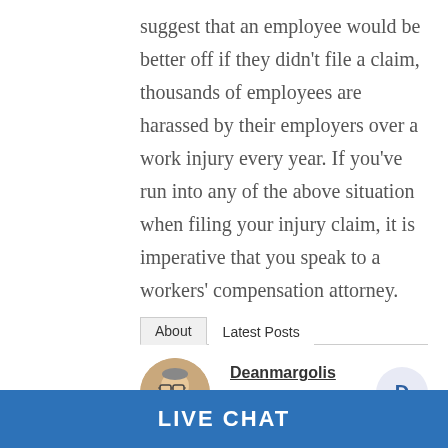suggest that an employee would be better off if they didn't file a claim, thousands of employees are harassed by their employers over a work injury every year. If you've run into any of the above situation when filing your injury claim, it is imperative that you speak to a workers' compensation attorney.
About   Latest Posts
Deanmargolis
Owner at Margolis Law Firm
LIVE CHAT